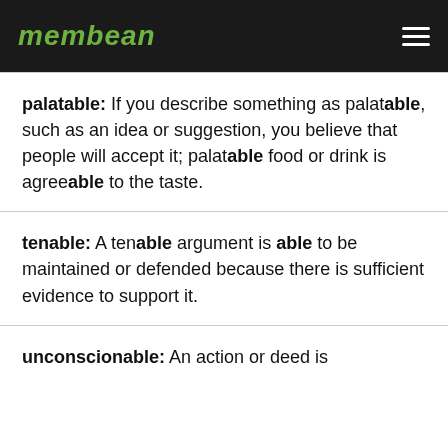membean
palatable: If you describe something as palatable, such as an idea or suggestion, you believe that people will accept it; palatable food or drink is agreeable to the taste.
tenable: A tenable argument is able to be maintained or defended because there is sufficient evidence to support it.
unconscionable: An action or deed is